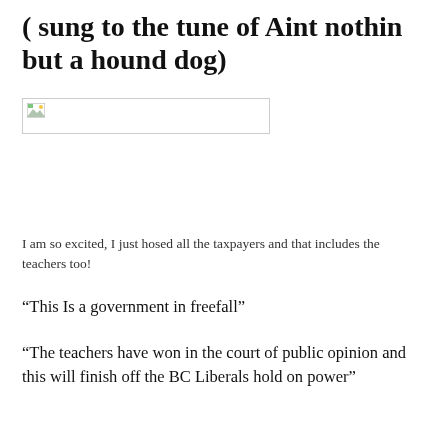( sung to the tune of Aint nothin but a hound dog)
[Figure (photo): Broken image placeholder — a small thumbnail image box with a broken image icon]
I am so excited, I just hosed all the taxpayers and that includes the teachers too!
“This Is a government in freefall”
“The teachers have won in the court of public opinion and this will finish off the BC Liberals hold on power”